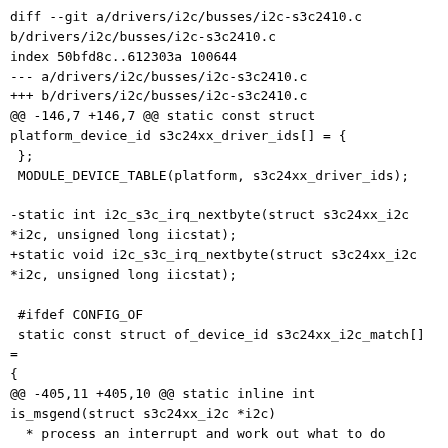diff --git a/drivers/i2c/busses/i2c-s3c2410.c b/drivers/i2c/busses/i2c-s3c2410.c
index 50bfd8c..612303a 100644
--- a/drivers/i2c/busses/i2c-s3c2410.c
+++ b/drivers/i2c/busses/i2c-s3c2410.c
@@ -146,7 +146,7 @@ static const struct platform_device_id s3c24xx_driver_ids[] = {
 };
 MODULE_DEVICE_TABLE(platform, s3c24xx_driver_ids);

-static int i2c_s3c_irq_nextbyte(struct s3c24xx_i2c *i2c, unsigned long iicstat);
+static void i2c_s3c_irq_nextbyte(struct s3c24xx_i2c *i2c, unsigned long iicstat);

 #ifdef CONFIG_OF
 static const struct of_device_id s3c24xx_i2c_match[] =
{
@@ -405,11 +405,10 @@ static inline int is_msgend(struct s3c24xx_i2c *i2c)
  * process an interrupt and work out what to do
  */

-static int i2c_s3c_irq_nextbyte(struct s3c24xx_i2c *i2c, unsigned long iicstat)
+static void i2c_s3c_irq_nextbyte(struct s3c24xx_i2c *i2c, unsigned long iicstat)
 {
         unsigned long tmp;
         unsigned char byte;